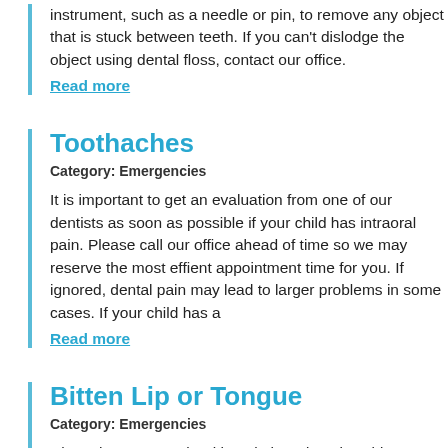instrument, such as a needle or pin, to remove any object that is stuck between teeth. If you can't dislodge the object using dental floss, contact our office.
Read more
Toothaches
Category: Emergencies
It is important to get an evaluation from one of our dentists as soon as possible if your child has intraoral pain. Please call our office ahead of time so we may reserve the most effient appointment time for you. If ignored, dental pain may lead to larger problems in some cases. If your child has a
Read more
Bitten Lip or Tongue
Category: Emergencies
Clean the area gently with a cloth and apply cold compresses or ice to reduce swelling. If the bleeding